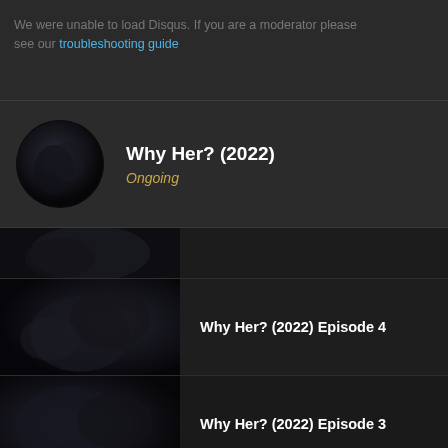We were unable to load Disqus. If you are a moderator please see our troubleshooting guide
Why Her? (2022)
Ongoing
[Figure (screenshot): Partial episode thumbnail row (cropped at top)]
Why Her? (2022) Episode 4
Why Her? (2022) Episode 3
Why Her? (2022) Episode 2